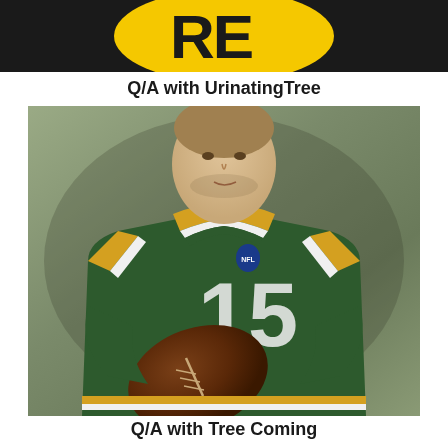[Figure (logo): Yellow circle logo on black banner background with letters 'RE' visible in dark text]
Q/A with UrinatingTree
[Figure (photo): Man wearing a Green Bay Packers NFL green and yellow jersey, holding a football, photographed against a neutral background]
Q/A with Tree Coming